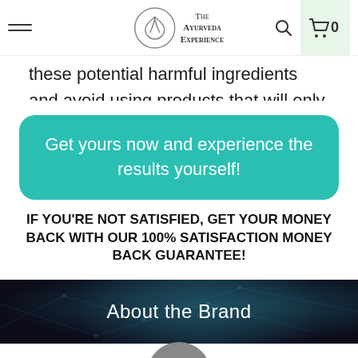The Ayurveda Experience
these potential harmful ingredients and avoid using products that will only do damage.
Get yours now and experience the results yourself!
IF YOU'RE NOT SATISFIED, GET YOUR MONEY BACK WITH OUR 100% SATISFACTION MONEY BACK GUARANTEE!
About the Brand